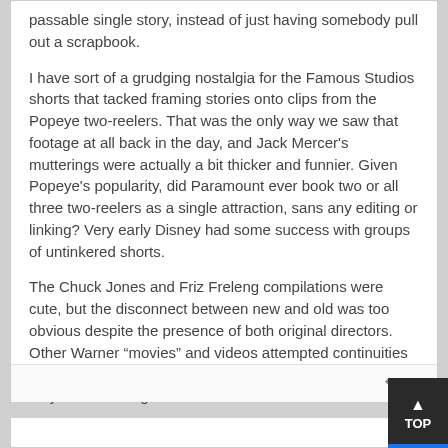passable single story, instead of just having somebody pull out a scrapbook.
I have sort of a grudging nostalgia for the Famous Studios shorts that tacked framing stories onto clips from the Popeye two-reelers. That was the only way we saw that footage at all back in the day, and Jack Mercer's mutterings were actually a bit thicker and funnier. Given Popeye's popularity, did Paramount ever book two or all three two-reelers as a single attraction, sans any editing or linking? Very early Disney had some success with groups of untinkered shorts.
The Chuck Jones and Friz Freleng compilations were cute, but the disconnect between new and old was too obvious despite the presence of both original directors. Other Warner “movies” and videos attempted continuities with cheap-looking new links and just made you wish they'd run the original shorts intact.